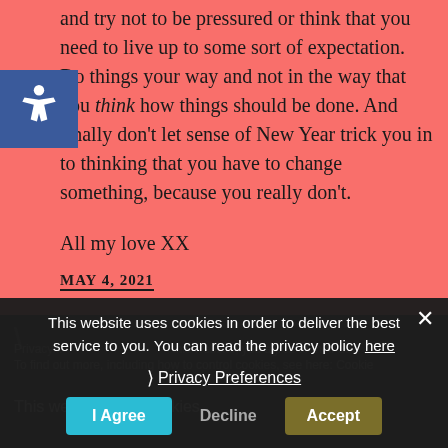and try not to be pressured or think that you need to live up to some sort of expectation. Do things your way and not in the way that you think how things should be done. And finally don't let sense of New Year trick you in to thinking that you have to change something, because you really don't.

All my love XX
MAY 4, 2021
This website uses cookies in order to deliver the best service to you. You can read the privacy policy here
Privacy Preferences
I Agree
Decline
Accept
This website uses cookies